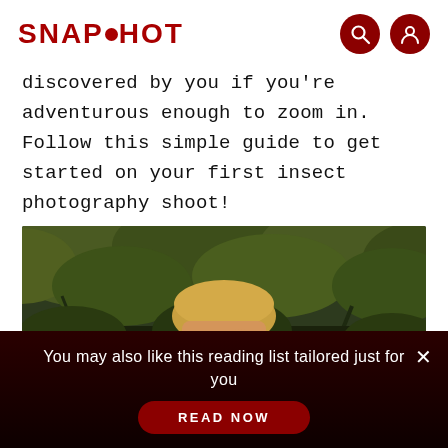SNAPSHOT
discovered by you if you’re adventurous enough to zoom in. Follow this simple guide to get started on your first insect photography shoot!
[Figure (photo): A young man with blonde hair holding a Canon DSLR camera up to his face, photographing outdoors with trees in the background.]
You may also like this reading list tailored just for you
READ NOW